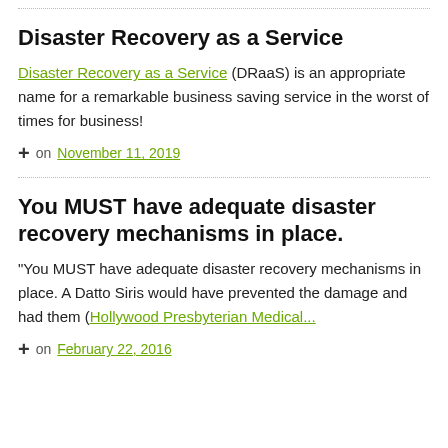Disaster Recovery as a Service
Disaster Recovery as a Service (DRaaS) is an appropriate name for a remarkable business saving service in the worst of times for business!
+ on November 11, 2019
You MUST have adequate disaster recovery mechanisms in place.
"You MUST have adequate disaster recovery mechanisms in place. A Datto Siris would have prevented the damage and had them (Hollywood Presbyterian Medical...
+ on February 22, 2016